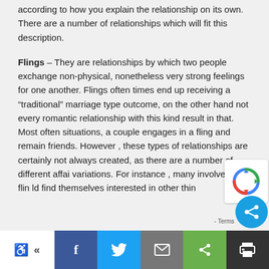according to how you explain the relationship on its own. There are a number of relationships which will fit this description.
Flings – They are relationships by which two people exchange non-physical, nonetheless very strong feelings for one another. Flings often times end up receiving a “traditional” marriage type outcome, on the other hand not every romantic relationship with this kind result in that. Most often situations, a couple engages in a fling and remain friends. However , these types of relationships are certainly not always created, as there are a number of different affai variations. For instance , many involved in flin ld find themselves interested in other thin